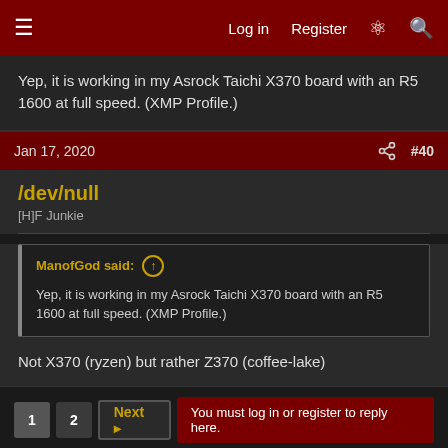Log in  Register
Yep, it is working in my Asrock Taichi X370 board with an R5 1600 at full speed. (XMP Profile.)
Jan 17, 2020  #40
/dev/null
[H]F Junkie
ManofGod said: ↑

Yep, it is working in my Asrock Taichi X370 board with an R5 1600 at full speed. (XMP Profile.)
Not X370 (ryzen) but rather Z370 (coffee-lake)
1  2  Next ▶  You must log in or register to reply here.
Share: